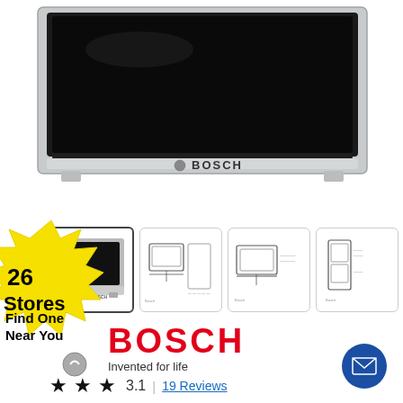[Figure (photo): Bosch built-in oven with black glass door and stainless steel frame, showing the Bosch logo on the front panel.]
[Figure (infographic): Yellow starburst badge with text '26 Stores / Find One Near You']
[Figure (photo): Row of product image thumbnails: front view of oven, and three technical/schematic diagram images of the oven dimensions/installation.]
[Figure (logo): Bosch red logo with tagline 'Invented for life']
3.1  |  19 Reviews
[Figure (other): Blue circular envelope/mail icon button in bottom right corner]